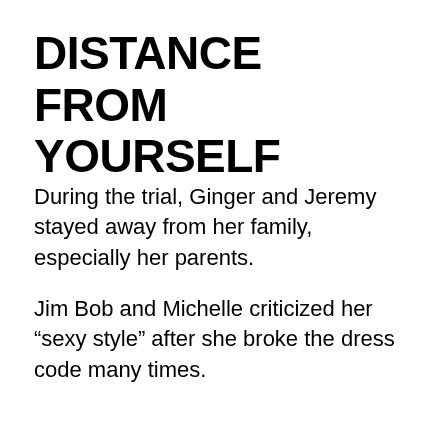DISTANCE FROM YOURSELF
During the trial, Ginger and Jeremy stayed away from her family, especially her parents.
Jim Bob and Michelle criticized her “sexy style” after she broke the dress code many times.